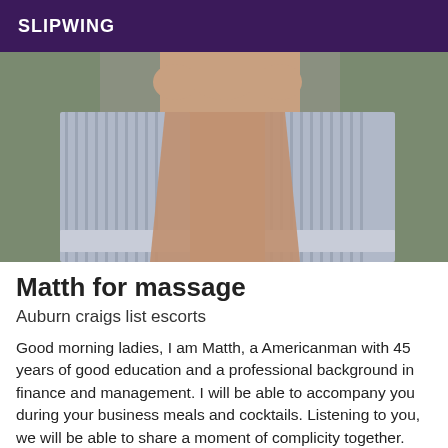SLIPWING
[Figure (photo): Person holding open a striped shirt, exposing torso, photographed from mid-chest to above head against a neutral wall background.]
Matth for massage
Auburn craigs list escorts
Good morning ladies, I am Matth, a Americanman with 45 years of good education and a professional background in finance and management. I will be able to accompany you during your business meals and cocktails. Listening to you, we will be able to share a moment of complicity together. Naturally, one that will b